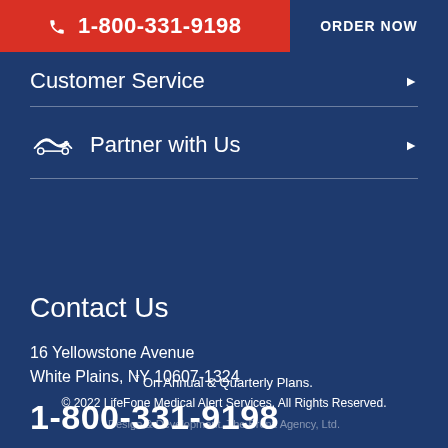📞 1-800-331-9198   ORDER NOW
Customer Service
Partner with Us
Contact Us
16 Yellowstone Avenue
White Plains, NY 10607-1324
1-800-331-9198
* On Annual & Quarterly Plans.
© 2022 LifeFone Medical Alert Services. All Rights Reserved.
Design & Development. The Bronz Agency, Ltd.